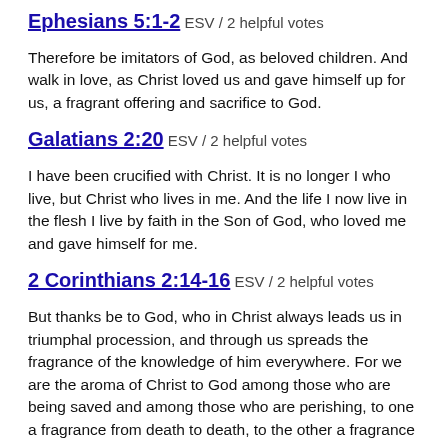Ephesians 5:1-2 ESV / 2 helpful votes
Therefore be imitators of God, as beloved children. And walk in love, as Christ loved us and gave himself up for us, a fragrant offering and sacrifice to God.
Galatians 2:20 ESV / 2 helpful votes
I have been crucified with Christ. It is no longer I who live, but Christ who lives in me. And the life I now live in the flesh I live by faith in the Son of God, who loved me and gave himself for me.
2 Corinthians 2:14-16 ESV / 2 helpful votes
But thanks be to God, who in Christ always leads us in triumphal procession, and through us spreads the fragrance of the knowledge of him everywhere. For we are the aroma of Christ to God among those who are being saved and among those who are perishing, to one a fragrance from death to death, to the other a fragrance